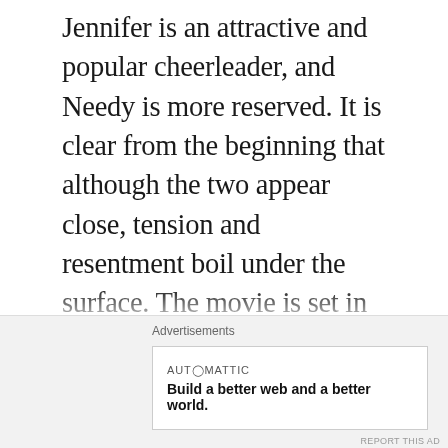Jennifer is an attractive and popular cheerleader, and Needy is more reserved. It is clear from the beginning that although the two appear close, tension and resentment boil under the surface. The movie is set in Devil's Kettle, Minnesota, a small town that is the home of a mysterious waterfall that seemingly devours everything dropped into it (important foreshadowing alert). One night, Jennifer takes Needy to a local bar to see a band called Low Shoulder. After meeting the band and overhearing them talking about Jennifer...
Advertisements
AUTOMATTIC
Build a better web and a better world.